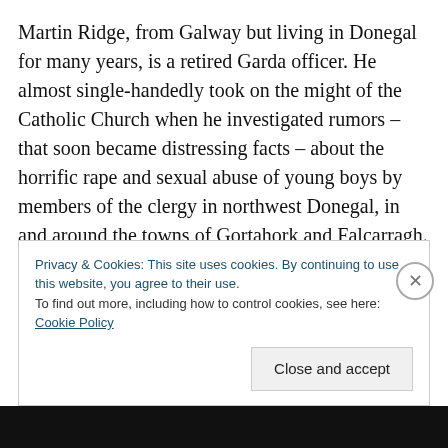Martin Ridge, from Galway but living in Donegal for many years, is a retired Garda officer. He almost single-handedly took on the might of the Catholic Church when he investigated rumors – that soon became distressing facts – about the horrific rape and sexual abuse of young boys by members of the clergy in northwest Donegal, in and around the towns of Gortahork and Falcarragh. His brilliantly-written book 'Breaking the Silence' tells a tragic story of the carnage such abuse created in the lives of the
Privacy & Cookies: This site uses cookies. By continuing to use this website, you agree to their use.
To find out more, including how to control cookies, see here: Cookie Policy

Close and accept